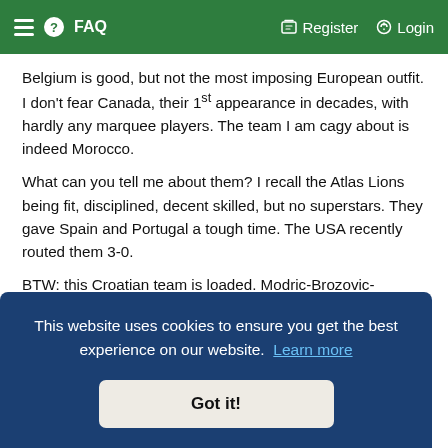≡ ❓ FAQ    ✏ Register  ⏻ Login
Belgium is good, but not the most imposing European outfit. I don't fear Canada, their 1st appearance in decades, with hardly any marquee players. The team I am cagy about is indeed Morocco.
What can you tell me about them? I recall the Atlas Lions being fit, disciplined, decent skilled, but no superstars. They gave Spain and Portugal a tough time. The USA recently routed them 3-0.
BTW: this Croatian team is loaded. Modric-Brozovic-Kovacic-Perisic, maybe the best midfield in the world. The defense will be our best ever, with rising young players from the best club teams. Blend of youth and experience...
[Figure (screenshot): Cookie consent overlay banner on a forum/website. Dark blue rounded rectangle containing text 'This website uses cookies to ensure you get the best experience on our website. Learn more' and a 'Got it!' button.]